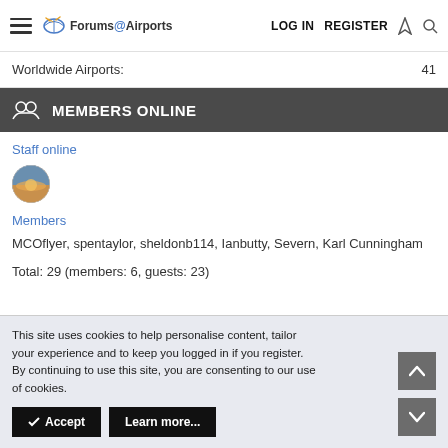Forums@Airports — LOG IN  REGISTER
Worldwide Airports: 41
MEMBERS ONLINE
Staff online
[Figure (photo): Small circular avatar showing a sunset/landscape photo]
Members
MCOflyer, spentaylor, sheldonb114, Ianbutty, Severn, Karl Cunningham
Total: 29 (members: 6, guests: 23)
This site uses cookies to help personalise content, tailor your experience and to keep you logged in if you register.
By continuing to use this site, you are consenting to our use of cookies.